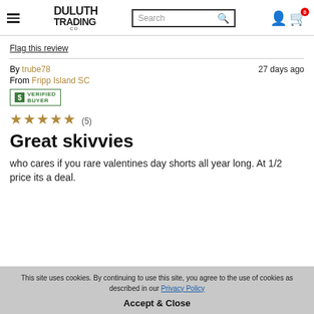Duluth Trading Co. — Search bar — Cart
Flag this review
By trube78   27 days ago
From Fripp Island SC
VERIFIED BUYER
[Figure (other): 5-star rating (5)]
Great skivvies
who cares if you rare valentines day shorts all year long. At 1/2 price its a deal.
This site uses cookies. By continuing to use this site, you agree to the use of cookies as described in our Privacy Policy
Accept & Close